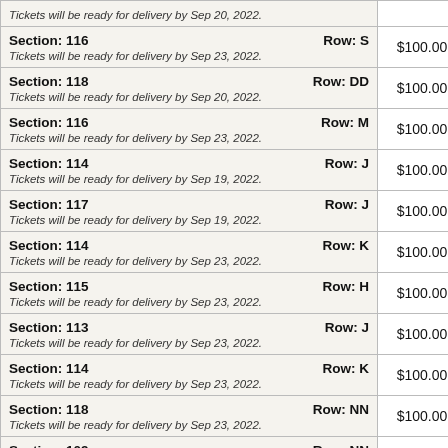| Section / Row / Delivery | Price |
| --- | --- |
| Tickets will be ready for delivery by Sep 20, 2022. |  |
| Section: 116   Row: S
Tickets will be ready for delivery by Sep 23, 2022. | $100.00 |
| Section: 118   Row: DD
Tickets will be ready for delivery by Sep 20, 2022. | $100.00 |
| Section: 116   Row: M
Tickets will be ready for delivery by Sep 23, 2022. | $100.00 |
| Section: 114   Row: J
Tickets will be ready for delivery by Sep 19, 2022. | $100.00 |
| Section: 117   Row: J
Tickets will be ready for delivery by Sep 19, 2022. | $100.00 |
| Section: 114   Row: K
Tickets will be ready for delivery by Sep 23, 2022. | $100.00 |
| Section: 115   Row: H
Tickets will be ready for delivery by Sep 23, 2022. | $100.00 |
| Section: 113   Row: J
Tickets will be ready for delivery by Sep 23, 2022. | $100.00 |
| Section: 114   Row: K
Tickets will be ready for delivery by Sep 23, 2022. | $100.00 |
| Section: 118   Row: NN
Tickets will be ready for delivery by Sep 23, 2022. | $100.00 |
| Section: 109   Row: NN
Tickets will be ready for delivery by Sep 23, 2022. | $100.00 |
| Section: 111   Row: L | $100.00 |